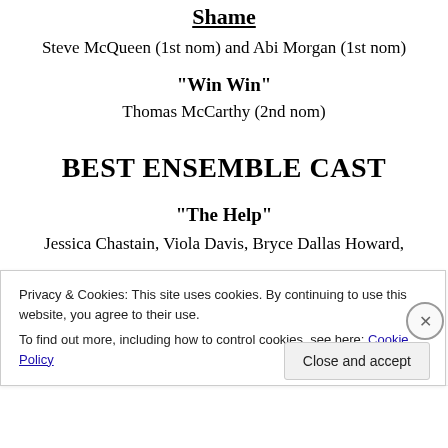Shame
Steve McQueen (1st nom) and Abi Morgan (1st nom)
"Win Win"
Thomas McCarthy (2nd nom)
BEST ENSEMBLE CAST
"The Help"
Jessica Chastain, Viola Davis, Bryce Dallas Howard,
Privacy & Cookies: This site uses cookies. By continuing to use this website, you agree to their use.
To find out more, including how to control cookies, see here: Cookie Policy
Close and accept